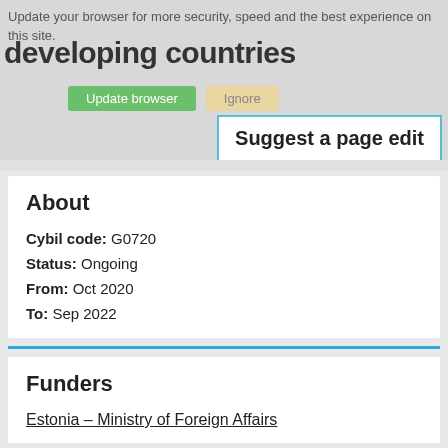Update your browser for more security, speed and the best experience on this site.
[Figure (screenshot): Browser update banner with Update browser and Ignore buttons]
developing countries
Suggest a page edit
About
Cybil code: G0720
Status: Ongoing
From: Oct 2020
To: Sep 2022
Funders
Estonia – Ministry of Foreign Affairs